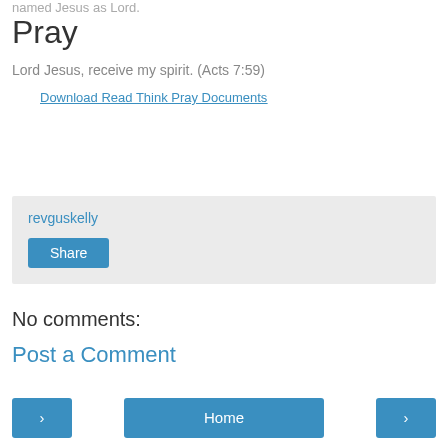named Jesus as Lord.
Pray
Lord Jesus, receive my spirit. (Acts 7:59)
Download Read Think Pray Documents
revguskelly
Share
No comments:
Post a Comment
< Home >